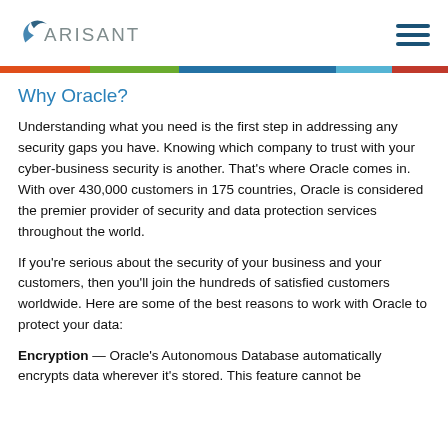ARISANT
Why Oracle?
Understanding what you need is the first step in addressing any security gaps you have. Knowing which company to trust with your cyber-business security is another. That's where Oracle comes in. With over 430,000 customers in 175 countries, Oracle is considered the premier provider of security and data protection services throughout the world.
If you're serious about the security of your business and your customers, then you'll join the hundreds of satisfied customers worldwide. Here are some of the best reasons to work with Oracle to protect your data:
Encryption — Oracle's Autonomous Database automatically encrypts data wherever it's stored. This feature cannot be